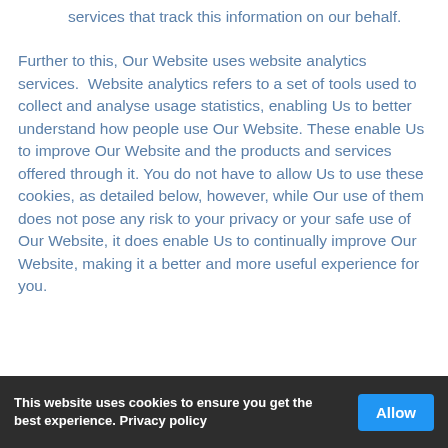services that track this information on our behalf.
Further to this, Our Website uses website analytics services. Website analytics refers to a set of tools used to collect and analyse usage statistics, enabling Us to better understand how people use Our Website. These enable Us to improve Our Website and the products and services offered through it. You do not have to allow Us to use these cookies, as detailed below, however, while Our use of them does not pose any risk to your privacy or your safe use of Our Website, it does enable Us to continually improve Our Website, making it a better and more useful experience for you.
This website uses cookies to ensure you get the best experience. Privacy policy  [Allow]